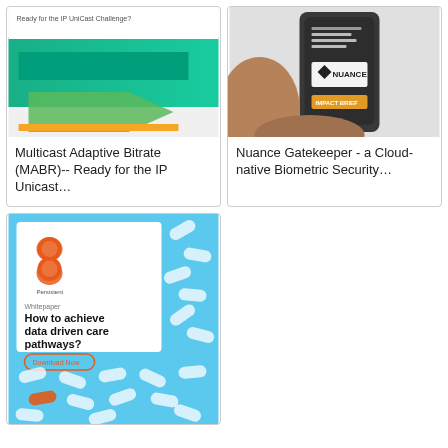[Figure (illustration): Book/whitepaper cover for Multicast Adaptive Bitrate (MABR) -- Ready for the IP UniCast Challenge, with teal/green gradient background and green/orange geometric arrow shapes]
Multicast Adaptive Bitrate (MABR)-- Ready for the IP Unicast...
[Figure (illustration): Nuance Gatekeeper impact brief cover showing a hand holding a smartphone with Nuance logo and orange IMPACT BRIEF text]
Nuance Gatekeeper - a Cloud-native Biometric Security...
[Figure (illustration): Persistent whitepaper cover: How to achieve data driven care pathways? Blue background with pill/capsule pattern, orange logo, Download Now button]